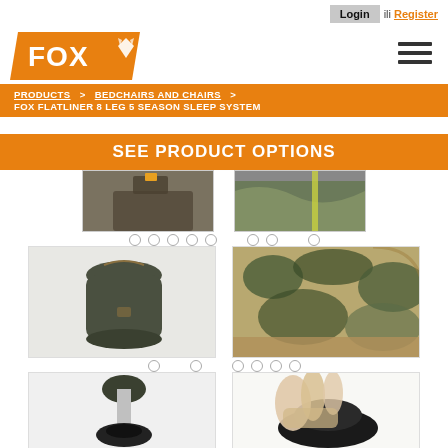Login ili Register
[Figure (logo): Fox logo — orange parallelogram background with white FOX text and fox head icon]
[Figure (other): Hamburger menu icon — three horizontal dark bars]
PRODUCTS > BEDCHAIRS AND CHAIRS > FOX FLATLINER 8 LEG 5 SEASON SLEEP SYSTEM
SEE PRODUCT OPTIONS
[Figure (photo): Partial product photo — dark bedchair/sleeping bag top corner with strap, dark olive green]
[Figure (photo): Partial product photo — close-up of camouflage sleeping bag zipper area]
[Figure (photo): Product photo — dark olive green compression bag/stuff sack with drawstring top]
[Figure (photo): Product photo — close-up of camouflage patterned padded sleeping bag corner]
[Figure (photo): Product photo — adjustable metal leg/foot assembly with black rubber foot pad on white background]
[Figure (photo): Product photo — hand installing/adjusting black rubber foot pad on bedchair leg]